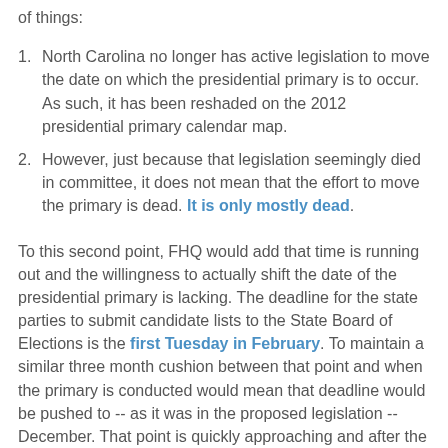of things:
North Carolina no longer has active legislation to move the date on which the presidential primary is to occur. As such, it has been reshaded on the 2012 presidential primary calendar map.
However, just because that legislation seemingly died in committee, it does not mean that the effort to move the primary is dead. It is only mostly dead.
To this second point, FHQ would add that time is running out and the willingness to actually shift the date of the presidential primary is lacking. The deadline for the state parties to submit candidate lists to the State Board of Elections is the first Tuesday in February. To maintain a similar three month cushion between that point and when the primary is conducted would mean that deadline would be pushed to -- as it was in the proposed legislation -- December. That point is quickly approaching and after the General Assembly session yesterday to deal with some